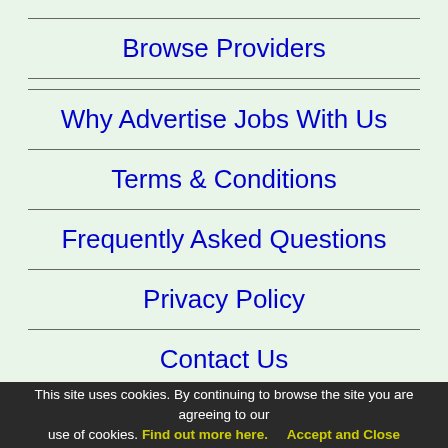Browse Providers
Why Advertise Jobs With Us
Terms & Conditions
Frequently Asked Questions
Privacy Policy
Contact Us
This site uses cookies. By continuing to browse the site you are agreeing to our use of cookies. Find out more here. Accept and Close